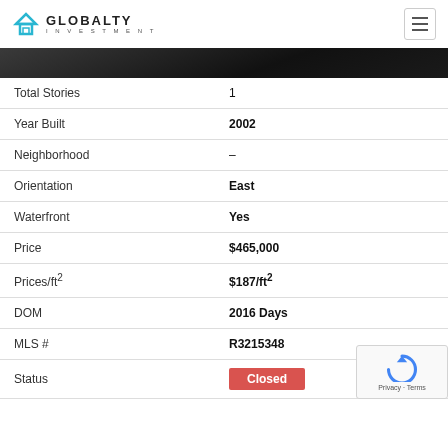GLOBALTY INVESTMENT
[Figure (photo): Dark gradient image band at top of property listing]
| Field | Value |
| --- | --- |
| Total Stories | 1 |
| Year Built | 2002 |
| Neighborhood | – |
| Orientation | East |
| Waterfront | Yes |
| Price | $465,000 |
| Prices/ft² | $187/ft² |
| DOM | 2016 Days |
| MLS # | R3215348 |
| Status | Closed |